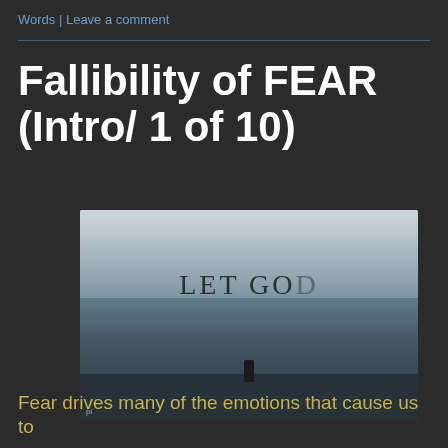Words | Leave a comment
Fallibility of FEAR (Intro/ 1 of 10)
[Figure (photo): A person standing on rocks in front of the ocean under a cloudy sky, with text 'LET GOD' overlaid in the upper center of the image.]
Fear drives many of the emotions that cause us to